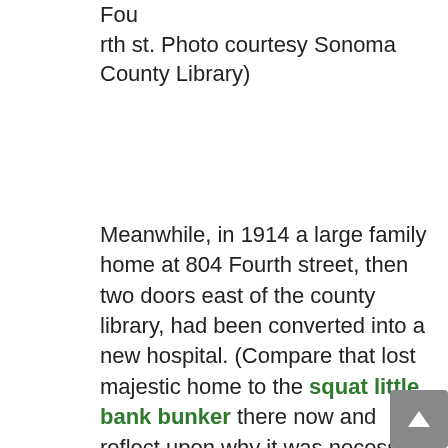Fourth st. Photo courtesy Sonoma County Library)
Meanwhile, in 1914 a large family home at 804 Fourth street, then two doors east of the county library, had been converted into a new hospital. (Compare that lost majestic home to the squat little bank bunker there now and reflect upon why it was necessary to establish the Preservation Districts.) Called the Lindsay-Thompson Hospital/Sanitarium it was similar to the Mary Jesse/Eliza Tanner Hospital, another residence turned small hospital that was a block away. Both